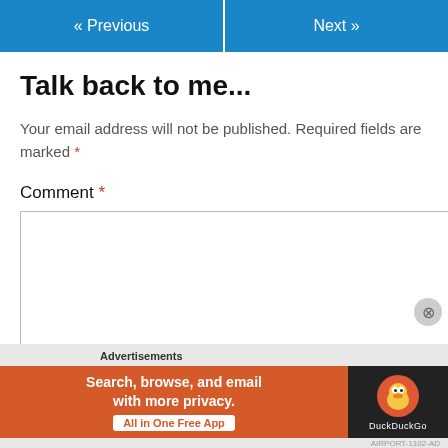« Previous   Next »
Talk back to me...
Your email address will not be published. Required fields are marked *
Comment *
[Figure (screenshot): DuckDuckGo advertisement banner: Search, browse, and email with more privacy. All in One Free App]
Advertisements